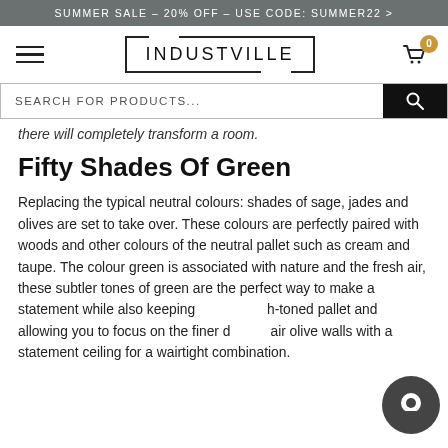SUMMER SALE – 20% OFF – USE CODE: SUMMER22 >
[Figure (logo): Industville logo with hamburger menu and cart icon showing 0 items]
SEARCH FOR PRODUCTS...
there will completely transform a room.
Fifty Shades Of Green
Replacing the typical neutral colours: shades of sage, jades and olives are set to take over. These colours are perfectly paired with woods and other colours of the neutral pallet such as cream and taupe. The colour green is associated with nature and the fresh air, these subtler tones of green are the perfect way to make a statement while also keeping a muted earth-toned pallet and allowing you to focus on the finer details. Pair olive walls with a statement ceiling for a wairtight combination.